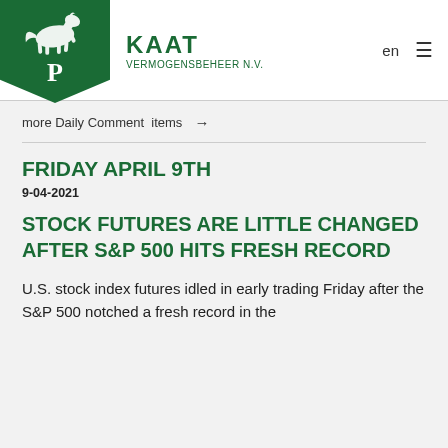[Figure (logo): Kaat Vermogensbeheer N.V. logo: dark green shield with white horse and letter P, with company name in green text]
KAAT VERMOGENSBEHEER N.V.   en  ≡
more Daily Comment items →
FRIDAY APRIL 9TH
9-04-2021
STOCK FUTURES ARE LITTLE CHANGED AFTER S&P 500 HITS FRESH RECORD
U.S. stock index futures idled in early trading Friday after the S&P 500 notched a fresh record in the